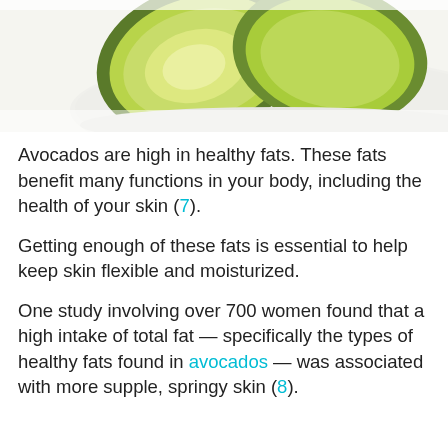[Figure (photo): Close-up photo of sliced avocado halves on a white plate, showing green flesh and creamy interior]
Avocados are high in healthy fats. These fats benefit many functions in your body, including the health of your skin (7).
Getting enough of these fats is essential to help keep skin flexible and moisturized.
One study involving over 700 women found that a high intake of total fat — specifically the types of healthy fats found in avocados — was associated with more supple, springy skin (8).